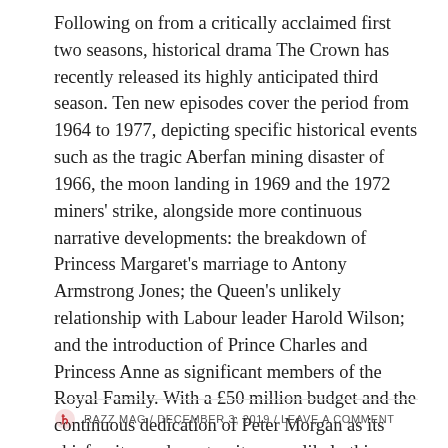Following on from a critically acclaimed first two seasons, historical drama The Crown has recently released its highly anticipated third season. Ten new episodes cover the period from 1964 to 1977, depicting specific historical events such as the tragic Aberfan mining disaster of 1966, the moon landing in 1969 and the 1972 miners' strike, alongside more continuous narrative developments: the breakdown of Princess Margaret's marriage to Antony Armstrong Jones; the Queen's unlikely relationship with Labour leader Harold Wilson; and the introduction of Prince Charles and Princess Anne as significant members of the Royal Family. With a £50 million budget and the continuous dedication of Peter Morgan as its chief writer and creator, it was unlikely this season would disappoint; and indeed, it did not. Continue reading
RAZZ MAG / DECEMBER 3, 2019 / LEAVE A COMMENT